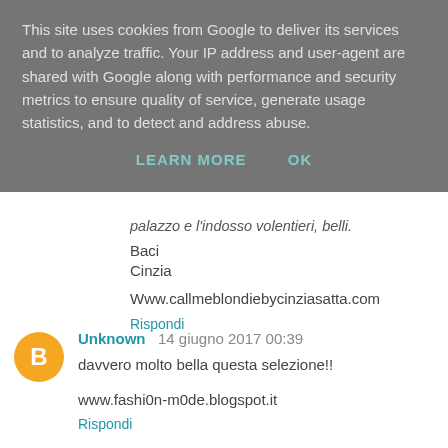This site uses cookies from Google to deliver its services and to analyze traffic. Your IP address and user-agent are shared with Google along with performance and security metrics to ensure quality of service, generate usage statistics, and to detect and address abuse.
LEARN MORE   OK
palazzo e l'indosso volentieri, belli.
Baci
Cinzia
Www.callmeblondiebycinziasatta.com
Rispondi
Unknown  14 giugno 2017 00:39
davvero molto bella questa selezione!!
www.fashi0n-m0de.blogspot.it
Rispondi